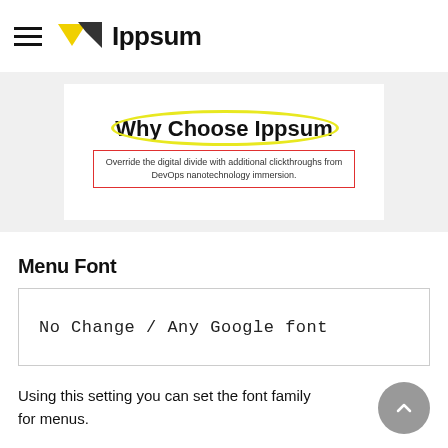Ippsum
[Figure (screenshot): Screenshot of a webpage section titled 'Why Choose Ippsum' with the title circled in yellow highlight and a red-bordered text box containing: 'Override the digital divide with additional clickthroughs from DevOps nanotechnology immersion.']
Menu Font
No Change / Any Google font
Using this setting you can set the font family for menus.